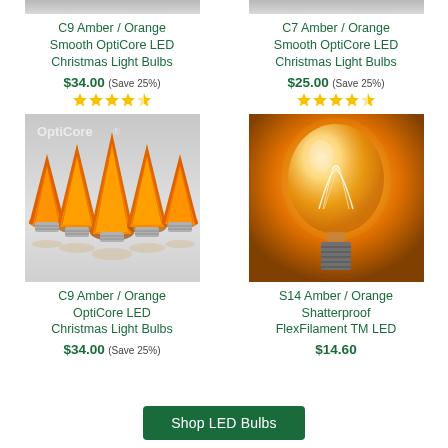[Figure (photo): Top portion of C9 Amber/Orange Smooth OptiCore LED Christmas Light Bulbs product image (gray background, cut off at top)]
C9 Amber / Orange Smooth OptiCore LED Christmas Light Bulbs
$34.00 (Save 25%)
[Figure (illustration): 5 yellow/gold star rating icons]
[Figure (photo): Top portion of C7 Amber/Orange Smooth OptiCore LED Christmas Light Bulbs product image (gray background, cut off at top)]
C7 Amber / Orange Smooth OptiCore LED Christmas Light Bulbs
$25.00 (Save 25%)
[Figure (illustration): 5 yellow/gold star rating icons]
[Figure (photo): C9 Amber/Orange OptiCore LED Christmas Light Bulbs - orange faceted cone shaped bulbs on gray background with OptiCore watermark]
C9 Amber / Orange OptiCore LED Christmas Light Bulbs
$34.00 (Save 25%)
[Figure (photo): S14 Amber/Orange Shatterproof FlexFilament TM LED - glowing incandescent-style bulb with visible filament on orange/amber background]
S14 Amber / Orange Shatterproof FlexFilament TM LED
$14.60
Shop LED Bulbs